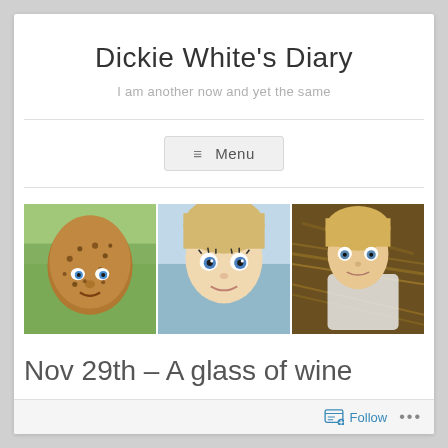Dickie White's Diary
I am another now and yet the same
[Figure (screenshot): Menu navigation button with hamburger icon lines and text 'Menu']
[Figure (photo): Three side-by-side images of doll faces: left - a brown bumpy textured doll face with blue eyes outdoors, center - a close-up of a blonde doll face with blue eyes, right - a blonde doll lying in straw/hay]
Nov 29th – A glass of wine
Follow ...